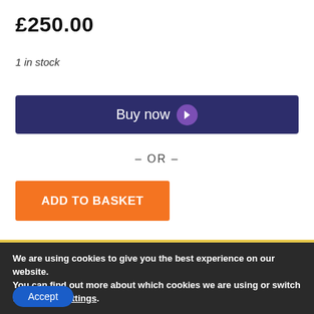£250.00
1 in stock
[Figure (other): Dark navy 'Buy now' button with purple chevron circle icon]
– OR –
[Figure (other): Orange 'ADD TO BASKET' button]
We are using cookies to give you the best experience on our website.
You can find out more about which cookies we are using or switch them off in settings.
Accept